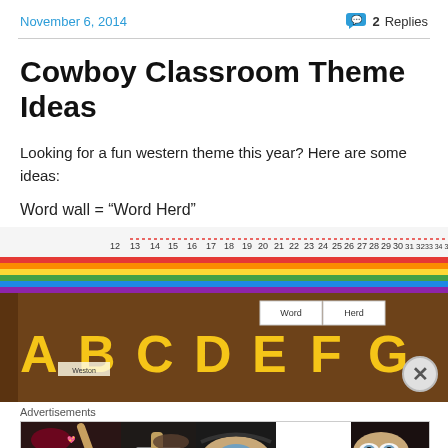November 6, 2014 | 2 Replies
Cowboy Classroom Theme Ideas
Looking for a fun western theme this year? Here are some ideas:
Word wall = “Word Herd”
[Figure (photo): Classroom bulletin board showing alphabet letters A B C D E F on a brown background with a number line above and a 'Word Herd' label in the center]
[Figure (photo): Ulta Beauty advertisement banner showing makeup and beauty product images with SHOP NOW call to action]